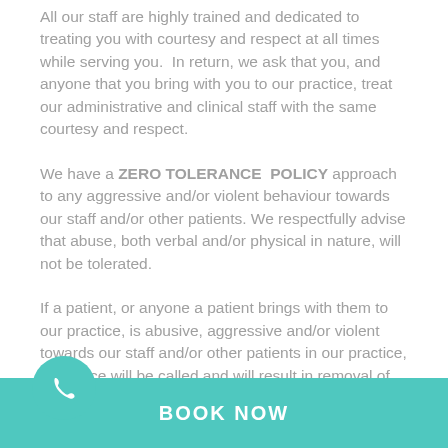All our staff are highly trained and dedicated to treating you with courtesy and respect at all times while serving you. In return, we ask that you, and anyone that you bring with you to our practice, treat our administrative and clinical staff with the same courtesy and respect.
We have a ZERO TOLERANCE POLICY approach to any aggressive and/or violent behaviour towards our staff and/or other patients. We respectfully advise that abuse, both verbal and/or physical in nature, will not be tolerated.
If a patient, or anyone a patient brings with them to our practice, is abusive, aggressive and/or violent towards our staff and/or other patients in our practice, the police will be called and will result in removal of offending participants from our practice and an
BOOK NOW